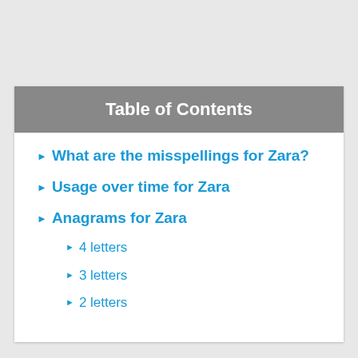Table of Contents
What are the misspellings for Zara?
Usage over time for Zara
Anagrams for Zara
4 letters
3 letters
2 letters